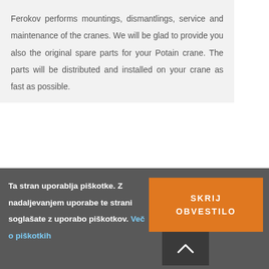Ferokov performs mountings, dismantlings, service and maintenance of the cranes. We will be glad to provide you also the original spare parts for your Potain crane. The parts will be distributed and installed on your crane as fast as possible.
Service and maintenance of the customer's cranes
Ta stran uporablja piškotke. Z nadaljevanjem uporabe te strani soglašate z uporabo piškotkov. Več o piškotkih
[Figure (screenshot): Orange button with text SKRIJ OBVESTILO and a dark scroll-up button with chevron arrow]